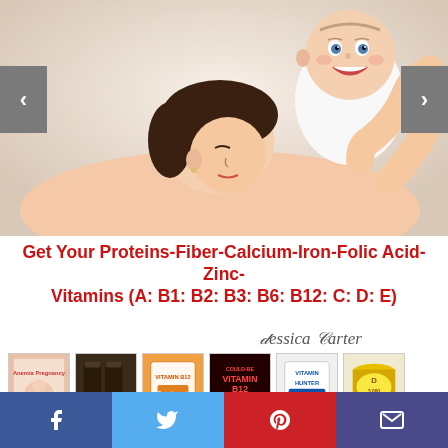[Figure (photo): A smiling baby being held up by a mother who is kissing the baby, with navigation arrows (left/right) on either side of the image]
Get Your Proteins-Fiber-Calcium-Iron-Folic Acid-Zinc-Vitamins (A: B1: B2: B3: B6: B12: C: D: E)
[Figure (illustration): Cursive signature reading 'Jessica Carter']
[Figure (photo): Strip of 6 thumbnail book/product cover images related to vitamins, pregnancy, and supplements]
[Figure (infographic): Social sharing bar with Facebook, Twitter, Pinterest, and Email buttons]